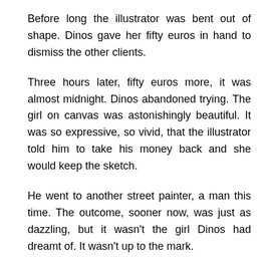Before long the illustrator was bent out of shape. Dinos gave her fifty euros in hand to dismiss the other clients.
Three hours later, fifty euros more, it was almost midnight. Dinos abandoned trying. The girl on canvas was astonishingly beautiful. It was so expressive, so vivid, that the illustrator told him to take his money back and she would keep the sketch.
He went to another street painter, a man this time. The outcome, sooner now, was just as dazzling, but it wasn't the girl Dinos had dreamt of. It wasn't up to the mark.
As he was coming back to the Garden, gutted, he stopped at a kiosk to buy cigarettes.
He had never smoked before. His father was an avid smoker.